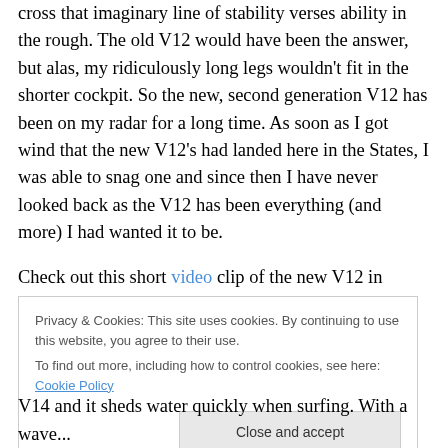cross that imaginary line of stability verses ability in the rough. The old V12 would have been the answer, but alas, my ridiculously long legs wouldn't fit in the shorter cockpit. So the new, second generation V12 has been on my radar for a long time. As soon as I got wind that the new V12's had landed here in the States, I was able to snag one and since then I have never looked back as the V12 has been everything (and more) I had wanted it to be.
Check out this short video clip of the new V12 in action on Fontana Lake. And here's another clip from Epic's Kenny Howell of the V12 in action in Hawaii.
Privacy & Cookies: This site uses cookies. By continuing to use this website, you agree to their use. To find out more, including how to control cookies, see here: Cookie Policy
V14 and it sheds water quickly when surfing. With a wave...